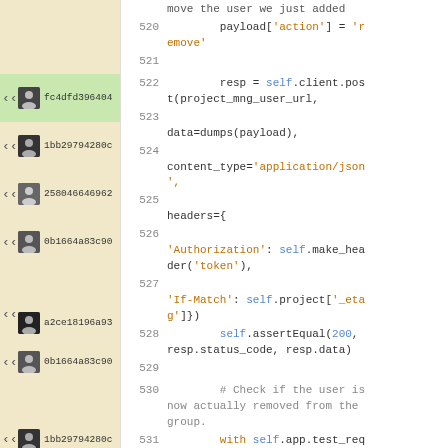[Figure (screenshot): Code editor showing git blame panel on left with user avatars and commit hashes, and Python source code on right with syntax highlighting. Lines 520-532 visible.]